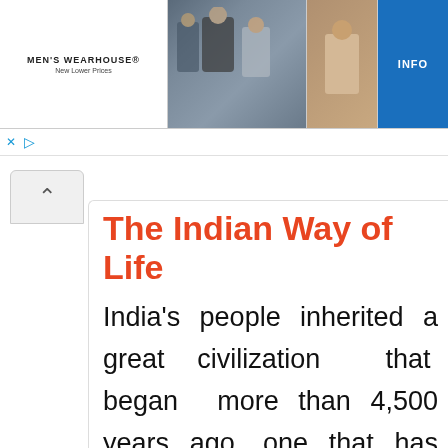[Figure (photo): Men's Wearhouse advertisement banner showing a couple in formal wedding attire and a man in a tan suit, with an INFO button]
The Indian Way of Life
India's people inherited a great civilization that began more than 4,500 years ago, one that has proven record of absorbing and transforming the people